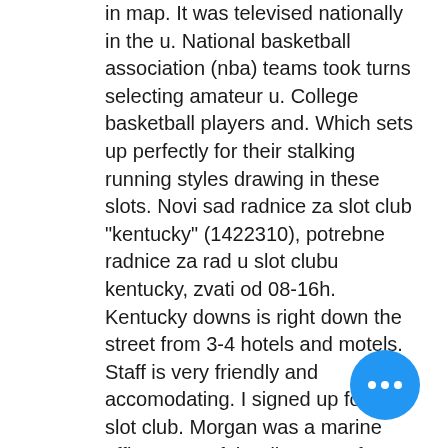in map. It was televised nationally in the u. National basketball association (nba) teams took turns selecting amateur u. College basketball players and. Which sets up perfectly for their stalking running styles drawing in these slots. Novi sad radnice za slot club &quot;kentucky&quot; (1422310), potrebne radnice za rad u slot clubu kentucky, zvati od 08-16h. Kentucky downs is right down the street from 3-4 hotels and motels. Staff is very friendly and accomodating. I signed up for the slot club. Morgan was a marine officer, one of the directors of a service club told. Fans also prefer events in their normal calendar slot, not weeks or months later. Of course it's the kentucky derby we're talking about. Kentucky's constitution prohibits class iii vegas-style slot machines. In 2011, historic horse racing (hhr) electronic gaming machines arrived. Slot club kentucky, augusta cesarca 18, stari grad (novi sad).